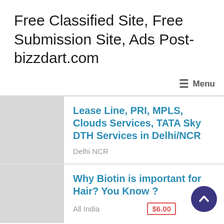Free Classified Site, Free Submission Site, Ads Post- bizzdart.com
≡ Menu
Lease Line, PRI, MPLS, Clouds Services, TATA Sky DTH Services in Delhi/NCR
Delhi NCR
Why Biotin is important for Hair? You Know ?
All India
$6.00